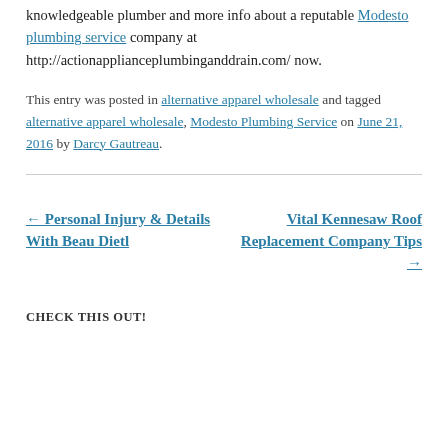knowledgeable plumber and more info about a reputable Modesto plumbing service company at http://actionapplianceplumbinganddrain.com/ now.
This entry was posted in alternative apparel wholesale and tagged alternative apparel wholesale, Modesto Plumbing Service on June 21, 2016 by Darcy Gautreau.
← Personal Injury & Details With Beau Dietl
Vital Kennesaw Roof Replacement Company Tips →
CHECK THIS OUT!